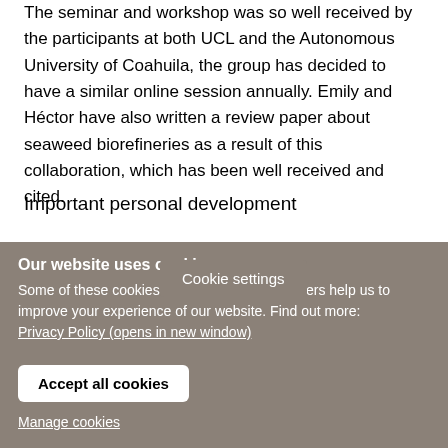The seminar and workshop was so well received by the participants at both UCL and the Autonomous University of Coahuila, the group has decided to have a similar online session annually. Emily and Héctor have also written a review paper about seaweed biorefineries as a result of this collaboration, which has been well received and cited.
Important personal development
As well as enabling international collaboration, ...
Cookie settings
Our website uses cookies
Some of these cookies are essential, while others help us to improve your experience of our website. Find out more:
Privacy Policy (opens in new window)
Accept all cookies
Manage cookies